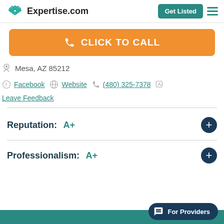Expertise.com
CLICK TO CALL
Mesa, AZ 85212
Facebook  Website  (480) 325-7378  Leave Feedback
Reputation: A+
Professionalism: A+
For Providers